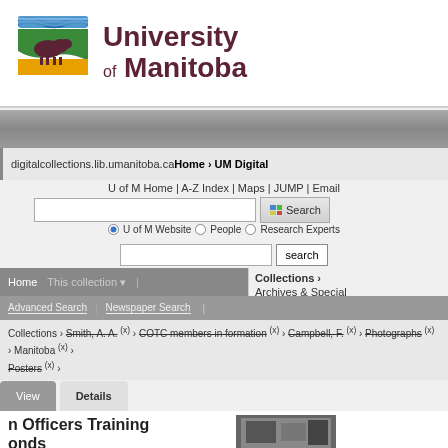[Figure (logo): University of Manitoba logo with bison and stylized water/mountain graphic in blue, green, gold colors]
University of Manitoba
digitalcollections.lib.umanitoba.ca Home › UM Digital
U of M Home | A-Z Index | Maps | JUMP | Email
U of M Website  People  Research Experts
Home   This collection   Advanced Search   Newspaper Search
Collections › Archives & Special
Collections › Smith, A. A. (x) › COTC members in formation (x) › Campbell, F. (x) › Photographs (x) › Manitoba (x) › Posters (x) ›
View   Details
n Officers Training onds